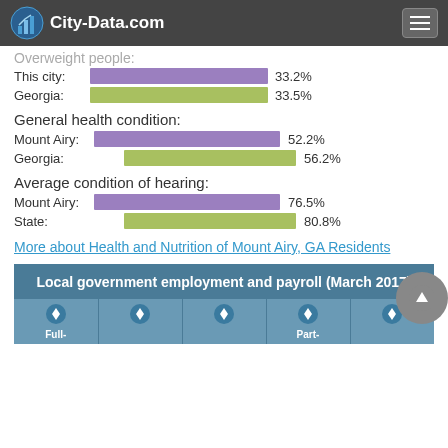City-Data.com
Overweight people:
[Figure (bar-chart): Overweight people]
General health condition:
[Figure (bar-chart): General health condition]
Average condition of hearing:
[Figure (bar-chart): Average condition of hearing]
More about Health and Nutrition of Mount Airy, GA Residents
Local government employment and payroll (March 2017)
| Full- |  |  | Part- |  |
| --- | --- | --- | --- | --- |